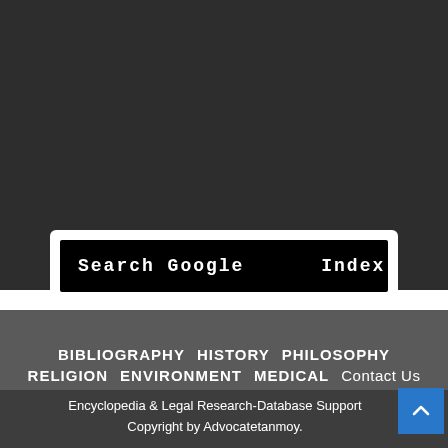[Figure (screenshot): Dark background top section of a webpage]
Search Google      Index
BIBLIOGRAPHY  HISTORY  PHILOSOPHY
RELIGION  ENVIRONMENT  MEDICAL  Contact Us
About  Disclaimers  RSS  Privacy Policy
Encyclopedia & Legal Research-Database Support
Copyright by Advocatetanmoy.